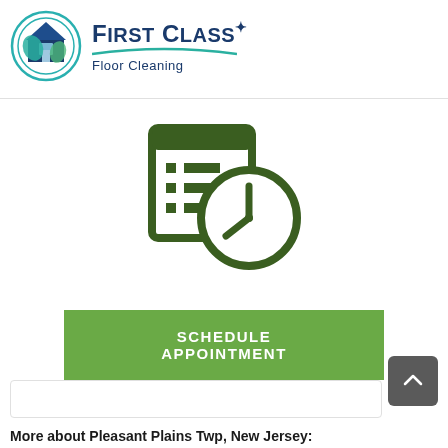[Figure (logo): First Class Floor Cleaning logo: circular icon with house and cleaning tools, teal/green and blue colors, with company name 'First Class Floor Cleaning' in dark blue text]
[Figure (illustration): Dark green schedule/appointment icon: a calendar/checklist combined with a clock face]
[Figure (other): Green 'SCHEDULE APPOINTMENT' button]
[Figure (other): Dark gray back-to-top button with upward chevron arrow]
More about Pleasant Plains Twp, New Jersey: